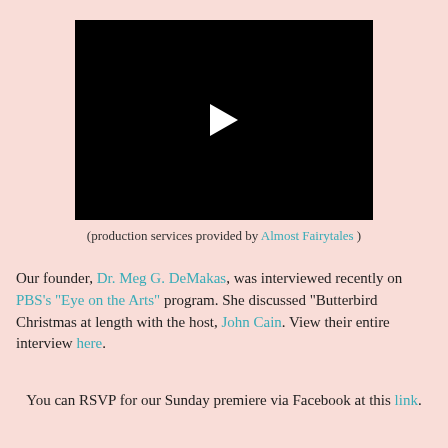[Figure (screenshot): Black video player with white play button triangle in the center]
(production services provided by Almost Fairytales )
Our founder, Dr. Meg G. DeMakas, was interviewed recently on PBS's "Eye on the Arts" program. She discussed "Butterbird Christmas at length with the host, John Cain. View their entire interview here.
You can RSVP for our Sunday premiere via Facebook at this link.